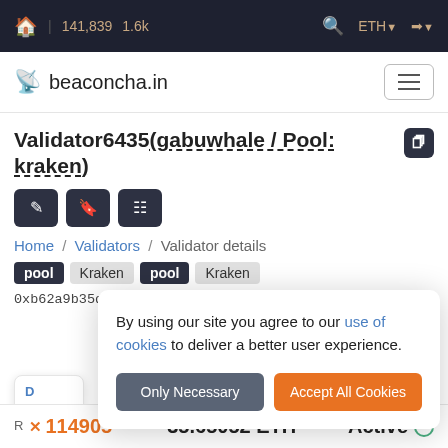🏠 | 141,839  1.6k   🔍  ETH ▼  ➡ ▼
beaconcha.in
Validator6435(gabuwhale / Pool: kraken)
Home / Validators / Validator details
pool  Kraken  pool  Kraken
0xb62a9b35d903740a292ee21936801ef7500f92…
By using our site you agree to our use of cookies to deliver a better user experience.
Only Necessary   Accept All Cookies
R…  114905  35.65052 ETH  Active